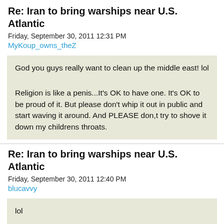Re: Iran to bring warships near U.S. Atlantic
Friday, September 30, 2011 12:31 PM
MyKoup_owns_theZ
God you guys really want to clean up the middle east! lol

Religion is like a penis...It's OK to have one. It's OK to be proud of it. But please don't whip it out in public and start waving it around. And PLEASE don,t try to shove it down my childrens throats.
Re: Iran to bring warships near U.S. Atlantic
Friday, September 30, 2011 12:40 PM
blucavvy
lol